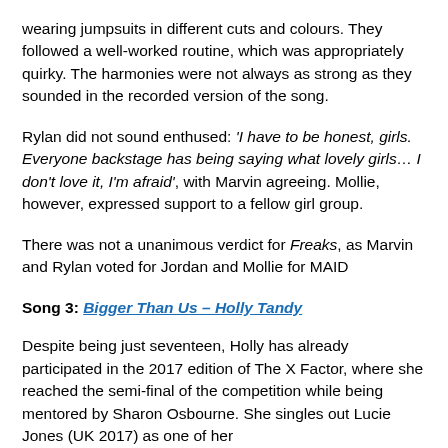wearing jumpsuits in different cuts and colours. They followed a well-worked routine, which was appropriately quirky. The harmonies were not always as strong as they sounded in the recorded version of the song.
Rylan did not sound enthused: 'I have to be honest, girls. Everyone backstage has being saying what lovely girls… I don't love it, I'm afraid', with Marvin agreeing. Mollie, however, expressed support to a fellow girl group.
There was not a unanimous verdict for Freaks, as Marvin and Rylan voted for Jordan and Mollie for MAID
Song 3: Bigger Than Us – Holly Tandy
Despite being just seventeen, Holly has already participated in the 2017 edition of The X Factor, where she reached the semi-final of the competition while being mentored by Sharon Osbourne. She singles out Lucie Jones (UK 2017) as one of her